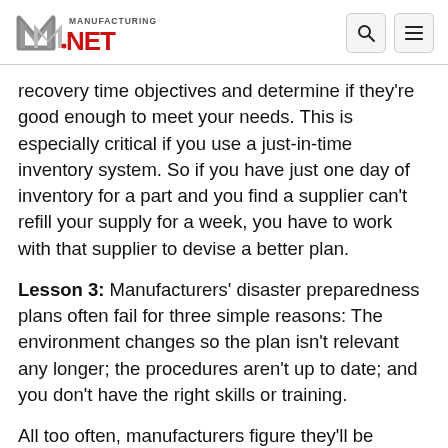Manufacturing.net logo with search and menu icons
recovery time objectives and determine if they're good enough to meet your needs. This is especially critical if you use a just-in-time inventory system. So if you have just one day of inventory for a part and you find a supplier can't refill your supply for a week, you have to work with that supplier to devise a better plan.
Lesson 3: Manufacturers' disaster preparedness plans often fail for three simple reasons: The environment changes so the plan isn't relevant any longer; the procedures aren't up to date; and you don't have the right skills or training.
All too often, manufacturers figure they'll be